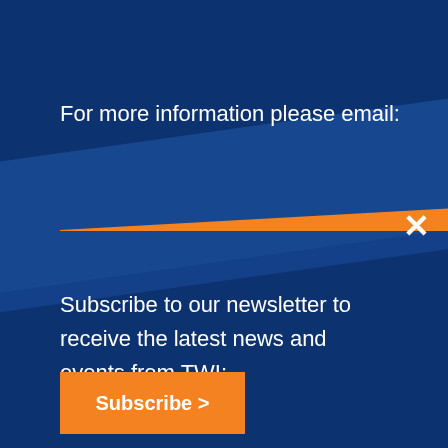For more information please email:
[Figure (illustration): Orange diagonal bar / trapezoid shape on dark navy background with a lighter blue diagonal band]
Subscribe to our newsletter to receive the latest news and events from TWI:
Subscribe >